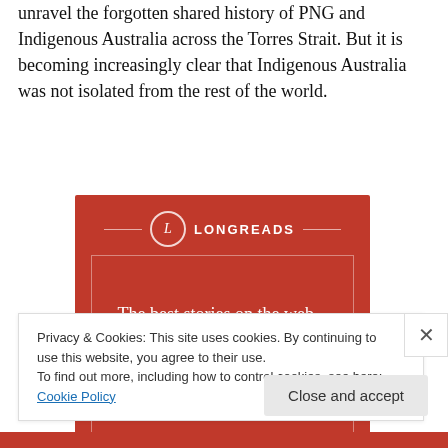unravel the forgotten shared history of PNG and Indigenous Australia across the Torres Strait. But it is becoming increasingly clear that Indigenous Australia was not isolated from the rest of the world.
[Figure (illustration): Longreads advertisement banner with red background showing logo, decorative border, text 'The best stories on the web – ours, and everyone else's.' and a 'Start reading' button]
Privacy & Cookies: This site uses cookies. By continuing to use this website, you agree to their use.
To find out more, including how to control cookies, see here: Cookie Policy
Close and accept